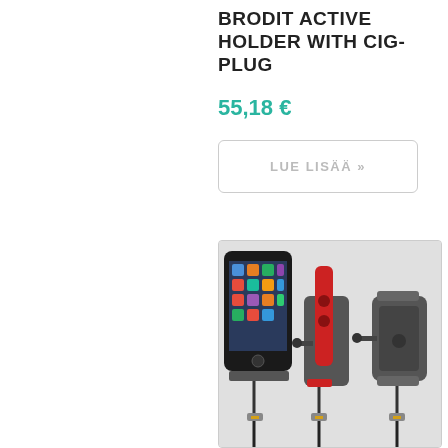BRODIT ACTIVE HOLDER WITH CIG-PLUG
55,18 €
LUE LISÄÄ »
[Figure (photo): Product photo showing a Brodit active holder with cig-plug: three views including a smartphone (iPhone) mounted in the holder, a red device (stylus/pen) in the holder, and the standalone holder bracket, all with connecting cables]